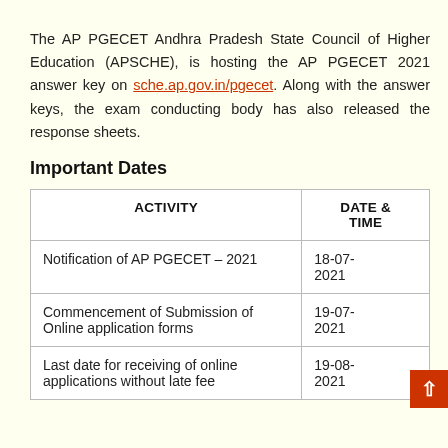The AP PGECET Andhra Pradesh State Council of Higher Education (APSCHE), is hosting the AP PGECET 2021 answer key on sche.ap.gov.in/pgecet. Along with the answer keys, the exam conducting body has also released the response sheets.
Important Dates
| ACTIVITY | DATE & TIME |
| --- | --- |
| Notification of AP PGECET – 2021 | 18-07-2021 |
| Commencement of Submission of Online application forms | 19-07-2021 |
| Last date for receiving of online applications without late fee | 19-08-2021 |